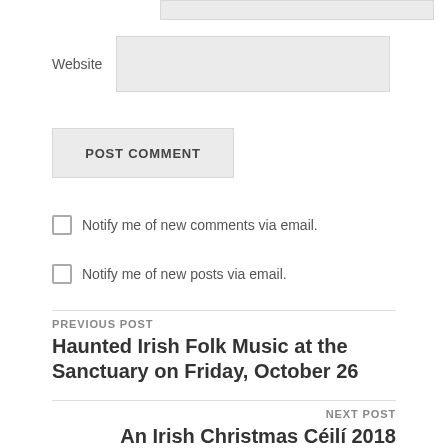Website
POST COMMENT
Notify me of new comments via email.
Notify me of new posts via email.
PREVIOUS POST
Haunted Irish Folk Music at the Sanctuary on Friday, October 26
NEXT POST
An Irish Christmas Céilí 2018